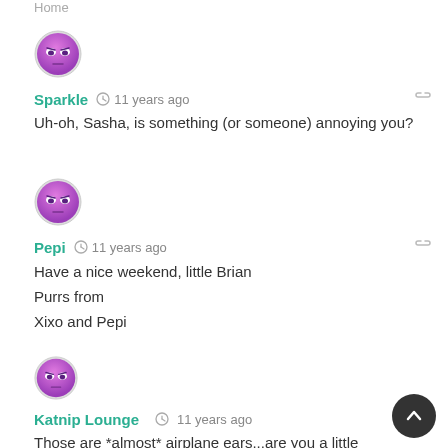Home
[Figure (illustration): Purple cat emoji avatar for user Sparkle]
Sparkle  11 years ago
Uh-oh, Sasha, is something (or someone) annoying you?
[Figure (illustration): Purple cat emoji avatar for user Pepi]
Pepi  11 years ago
Have a nice weekend, little Brian
Purrs from
Xixo and Pepi
[Figure (illustration): Purple cat emoji avatar for user Katnip Lounge]
Katnip Lounge  11 years ago
Those are *almost* airplane ears...are you a little annoyed?